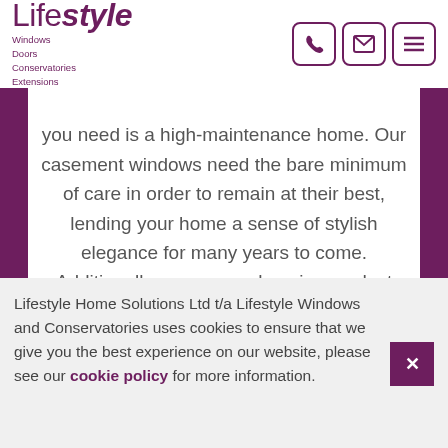Lifestyle Windows Doors Conservatories Extensions
you need is a high-maintenance home. Our casement windows need the bare minimum of care in order to remain at their best, lending your home a sense of stylish elegance for many years to come. Additionally, our comprehensive product guarantees will offer you extra peace of mind.
Lifestyle Home Solutions Ltd t/a Lifestyle Windows and Conservatories uses cookies to ensure that we give you the best experience on our website, please see our cookie policy for more information.